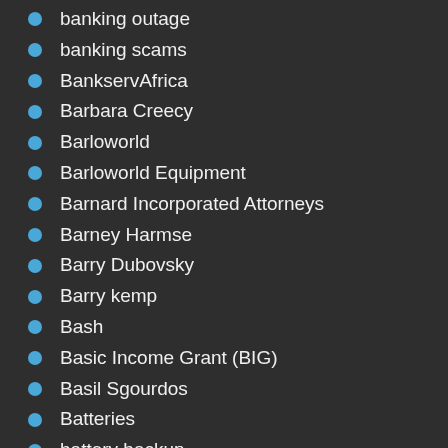banking outage
banking scams
BankservAfrica
Barbara Creecy
Barloworld
Barloworld Equipment
Barnard Incorporated Attorneys
Barney Harmse
Barry Dubovsky
Barry kemp
Bash
Basic Income Grant (BIG)
Basil Sgourdos
Batteries
battery backup